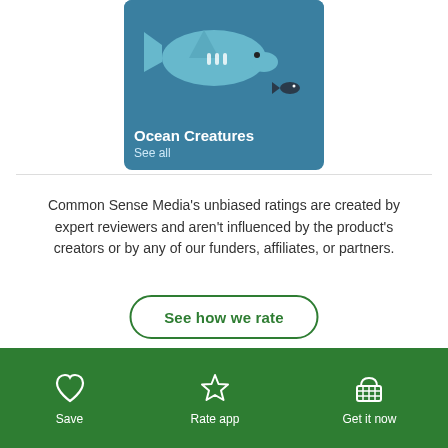[Figure (illustration): Ocean Creatures app icon tile showing a teal/blue background with a cartoon shark and small fish, with 'Ocean Creatures' title and 'See all' link overlay at bottom]
Common Sense Media's unbiased ratings are created by expert reviewers and aren't influenced by the product's creators or by any of our funders, affiliates, or partners.
See how we rate
[Figure (logo): Common Sense Media logo partially visible]
Save | Rate app | Get it now